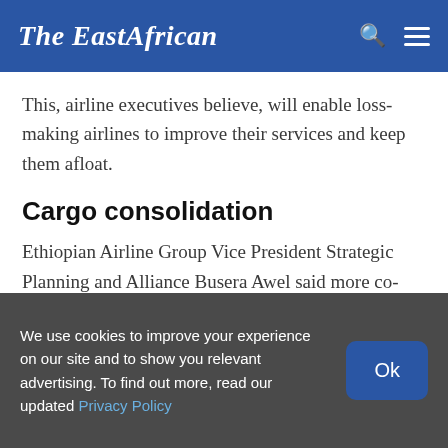The EastAfrican
This, airline executives believe, will enable loss-making airlines to improve their services and keep them afloat.
Cargo consolidation
Ethiopian Airline Group Vice President Strategic Planning and Alliance Busera Awel said more co-operation through alliances, pooling of resources,
We use cookies to improve your experience on our site and to show you relevant advertising. To find out more, read our updated Privacy Policy